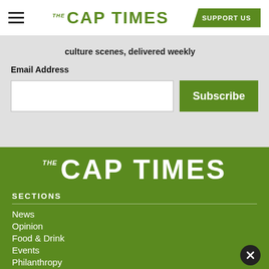THE CAP TIMES | SUPPORT US
culture scenes, delivered weekly
Email Address
[Figure (screenshot): Email input field and Subscribe button]
[Figure (logo): The Cap Times logo in white on green background]
SECTIONS
News
Opinion
Food & Drink
Events
Philanthropy
SERVICES